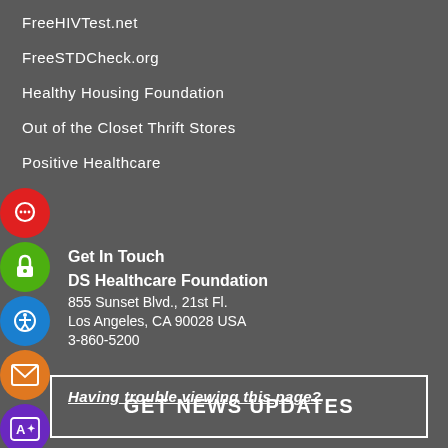FreeHIVTest.net
FreeSTDCheck.org
Healthy Housing Foundation
Out of the Closet Thrift Stores
Positive Healthcare
[Figure (infographic): Five circular icon buttons stacked vertically on the left side: red chat bubble, green lock, blue accessibility, orange envelope, purple translation, dark-red heart/hands icons.]
Get In Touch
DS Healthcare Foundation
855 Sunset Blvd., 21st Fl.
Los Angeles, CA 90028 USA
3-860-5200
Having trouble viewing this page?
GET NEWS UPDATES